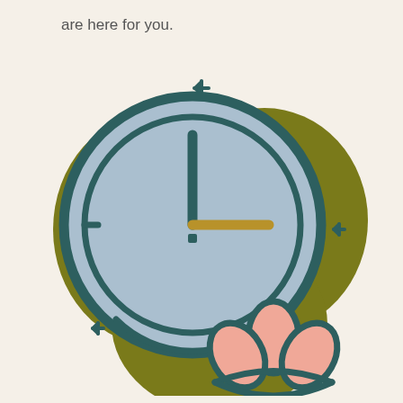are here for you.
[Figure (illustration): A decorative illustration featuring a clock with dark teal outline on a light blue circular background, overlaid on two olive/golden-yellow organic blob shapes. A lotus flower with pink petals sits in the lower right. Small four-pointed star/sparkle decorations are scattered around the image.]